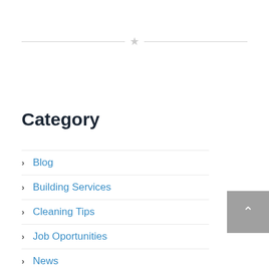[Figure (other): Horizontal divider with a star icon in the center]
Category
Blog
Building Services
Cleaning Tips
Job Oportunities
News
Offers